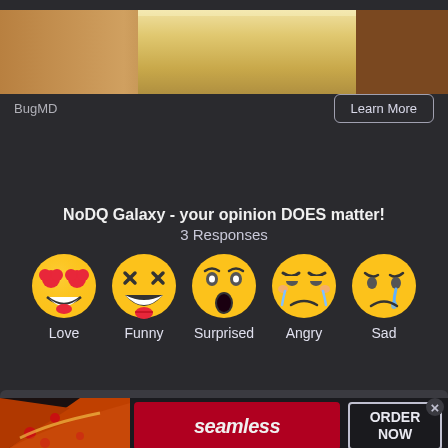[Figure (photo): Top banner image showing a wooden/golden surface split into sections]
Odd Trick To Decimate Roaches (You'll Wish You Saw It Sooner)
BugMD
Learn More
NoDQ Galaxy - your opinion DOES matter!
3 Responses
[Figure (infographic): Five emoji reaction buttons: Love (heart-eyes), Funny (laughing with tongue), Surprised (open mouth), Angry (crying face), Sad (tearful face) with labels below each]
NoDQ.com Comment Policy
[Figure (screenshot): Seamless food delivery advertisement banner with pizza image on left, red Seamless logo in center, ORDER NOW button on right]